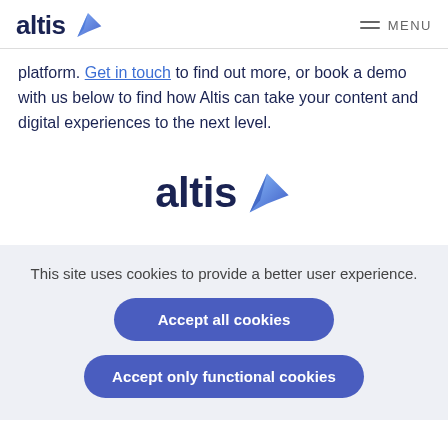[Figure (logo): Altis logo with dark navy text 'altis' and a blue 3D arrow/chevron icon, plus hamburger menu icon and MENU text in top-right]
platform. Get in touch to find out more, or book a demo with us below to find how Altis can take your content and digital experiences to the next level.
[Figure (logo): Large centered Altis logo with dark navy text 'altis' and a blue 3D arrow/chevron icon]
This site uses cookies to provide a better user experience.
Accept all cookies
Accept only functional cookies